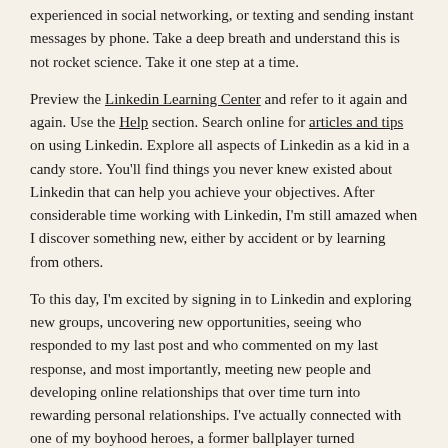experienced in social networking, or texting and sending instant messages by phone. Take a deep breath and understand this is not rocket science. Take it one step at a time.
Preview the Linkedin Learning Center and refer to it again and again. Use the Help section. Search online for articles and tips on using Linkedin. Explore all aspects of Linkedin as a kid in a candy store. You'll find things you never knew existed about Linkedin that can help you achieve your objectives. After considerable time working with Linkedin, I'm still amazed when I discover something new, either by accident or by learning from others.
To this day, I'm excited by signing in to Linkedin and exploring new groups, uncovering new opportunities, seeing who responded to my last post and who commented on my last response, and most importantly, meeting new people and developing online relationships that over time turn into rewarding personal relationships. I've actually connected with one of my boyhood heroes, a former ballplayer turned marketing executive, on Linkedin, that I now communicate with on a regular basis!